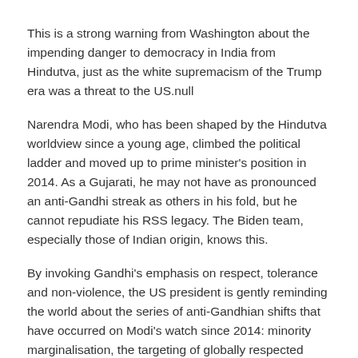This is a strong warning from Washington about the impending danger to democracy in India from Hindutva, just as the white supremacism of the Trump era was a threat to the US.null
Narendra Modi, who has been shaped by the Hindutva worldview since a young age, climbed the political ladder and moved up to prime minister's position in 2014. As a Gujarati, he may not have as pronounced an anti-Gandhi streak as others in his fold, but he cannot repudiate his RSS legacy. The Biden team, especially those of Indian origin, knows this.
By invoking Gandhi's emphasis on respect, tolerance and non-violence, the US president is gently reminding the world about the series of anti-Gandhian shifts that have occurred on Modi's watch since 2014: minority marginalisation, the targeting of globally respected NGOs that were working to provide humanitarian aid to the poor – mainly Dalits, Adivasis and OBCs, the violation of basic human rights by lynchings, the targeting of Muslims using the so-called 'love jihad' laws, 'ghar wapsi' and anti-beef